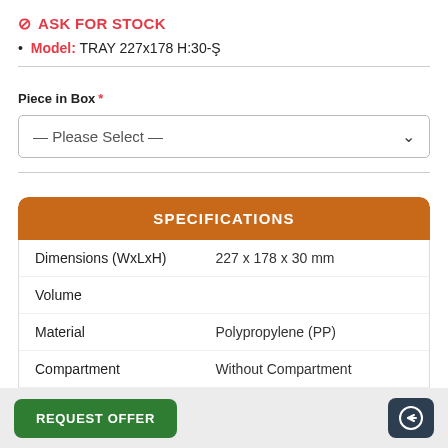🚫 ASK FOR STOCK
Model: TRAY 227x178 H:30-Ş
Piece in Box *
— Please Select —
SPECIFICATIONS
| Property | Value |
| --- | --- |
| Dimensions (WxLxH) | 227 x 178 x 30 mm |
| Volume |  |
| Material | Polypropylene (PP) |
| Compartment | Without Compartment |
| Color | Transparent |
REQUEST OFFER